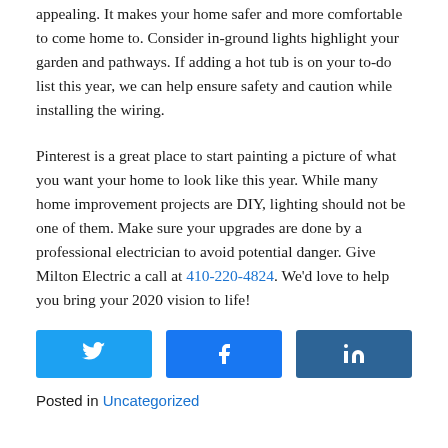appealing. It makes your home safer and more comfortable to come home to. Consider in-ground lights highlight your garden and pathways. If adding a hot tub is on your to-do list this year, we can help ensure safety and caution while installing the wiring.
Pinterest is a great place to start painting a picture of what you want your home to look like this year. While many home improvement projects are DIY, lighting should not be one of them. Make sure your upgrades are done by a professional electrician to avoid potential danger. Give Milton Electric a call at 410-220-4824. We'd love to help you bring your 2020 vision to life!
[Figure (other): Three social share buttons: Twitter (blue), Facebook (blue), LinkedIn (dark blue)]
Posted in Uncategorized